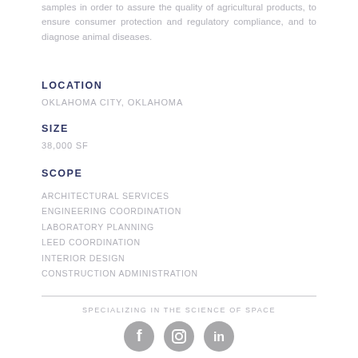samples in order to assure the quality of agricultural products, to ensure consumer protection and regulatory compliance, and to diagnose animal diseases.
LOCATION
OKLAHOMA CITY, OKLAHOMA
SIZE
38,000 SF
SCOPE
ARCHITECTURAL SERVICES
ENGINEERING COORDINATION
LABORATORY PLANNING
LEED COORDINATION
INTERIOR DESIGN
CONSTRUCTION ADMINISTRATION
SPECIALIZING IN THE SCIENCE OF SPACE